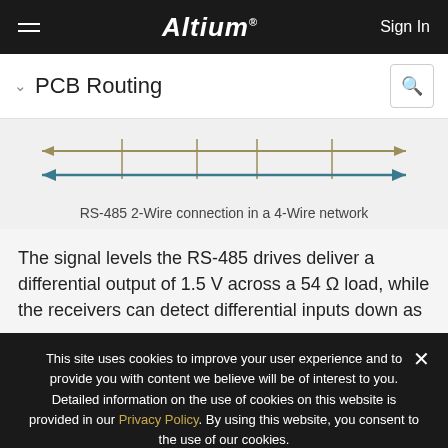Altium  Sign In
PCB Routing
[Figure (schematic): RS-485 2-Wire connection in a 4-Wire network diagram showing two horizontal arrows (one olive/gold colored pointing right with tick marks, one teal/blue pointing left) with vertical connectors between them]
RS-485 2-Wire connection in a 4-Wire network
The signal levels the RS-485 drives deliver a differential output of 1.5 V across a 54 Ω load, while the receivers can detect differential inputs down as
This site uses cookies to improve your user experience and to provide you with content we believe will be of interest to you. Detailed information on the use of cookies on this website is provided in our Privacy Policy. By using this website, you consent to the use of our cookies.
Ok, don't show me this again